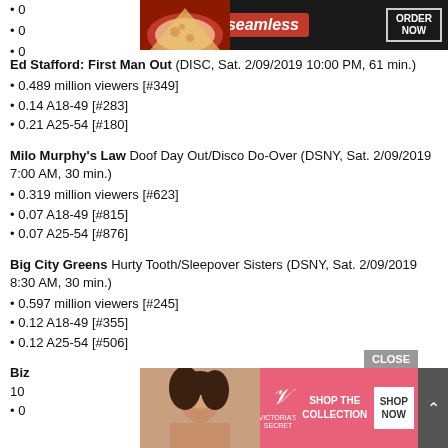[Figure (other): Seamless food delivery advertisement banner with pizza image, seamless logo in red, and ORDER NOW button]
0 (partial bullet line 1)
0 (partial bullet line 2)
0 (partial bullet line 3)
Ed Stafford: First Man Out (DISC, Sat. 2/09/2019 10:00 PM, 61 min.)
0.489 million viewers [#349]
0.14 A18-49 [#283]
0.21 A25-54 [#180]
Milo Murphy's Law Doof Day Out/Disco Do-Over (DSNY, Sat. 2/09/2019 7:00 AM, 30 min.)
0.319 million viewers [#623]
0.07 A18-49 [#815]
0.07 A25-54 [#876]
Big City Greens Hurty Tooth/Sleepover Sisters (DSNY, Sat. 2/09/2019 8:30 AM, 30 min.)
0.597 million viewers [#245]
0.12 A18-49 [#355]
0.12 A25-54 [#506]
Biz... (partial) ...2019 10:... (partial)
0... (partial)
[Figure (other): Victoria's Secret advertisement banner with model photo, shop the collection text, and SHOP NOW button]
[Figure (other): CLOSE button overlay on bottom advertisement]